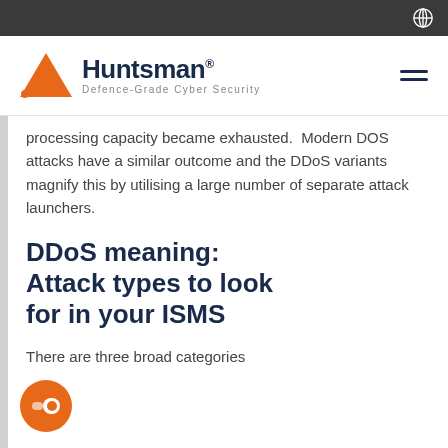Huntsman – Defence-Grade Cyber Security
processing capacity became exhausted.  Modern DOS attacks have a similar outcome and the DDoS variants magnify this by utilising a large number of separate attack launchers.
DDoS meaning: Attack types to look for in your ISMS
There are three broad categories